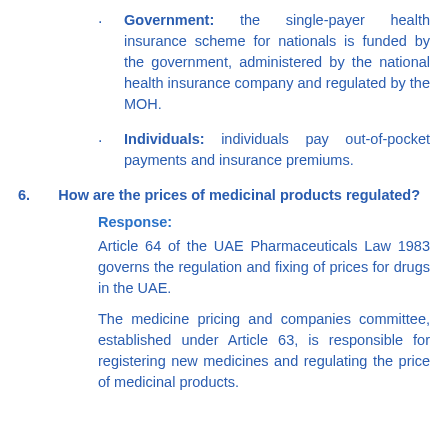Government: the single-payer health insurance scheme for nationals is funded by the government, administered by the national health insurance company and regulated by the MOH.
Individuals: individuals pay out-of-pocket payments and insurance premiums.
6.	How are the prices of medicinal products regulated?
Response:
Article 64 of the UAE Pharmaceuticals Law 1983 governs the regulation and fixing of prices for drugs in the UAE.
The medicine pricing and companies committee, established under Article 63, is responsible for registering new medicines and regulating the price of medicinal products.